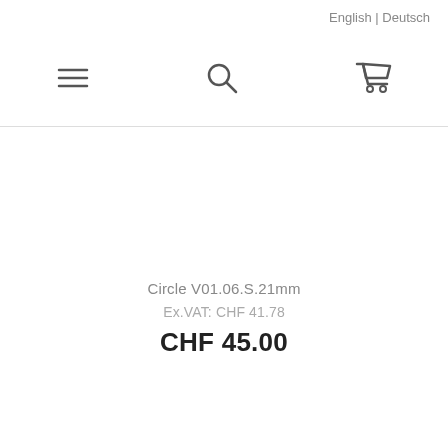English | Deutsch
[Figure (other): Navigation bar with hamburger menu icon, search icon, and shopping cart icon]
[Figure (photo): Product image area (blank/white product photo area)]
Circle V01.06.S.21mm
Ex.VAT: CHF 41.78
CHF 45.00